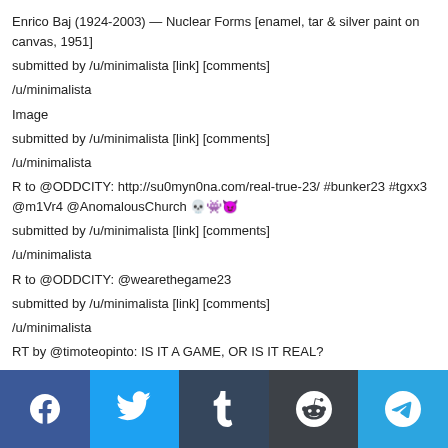Enrico Baj (1924-2003) — Nuclear Forms [enamel, tar & silver paint on canvas, 1951]
submitted by /u/minimalista [link] [comments]
/u/minimalista
Image
submitted by /u/minimalista [link] [comments]
/u/minimalista
R to @ODDCITY: http://su0myn0na.com/real-true-23/ #bunker23 #tgxx3 @m1Vr4 @AnomalousChurch 💀👾😈
submitted by /u/minimalista [link] [comments]
/u/minimalista
R to @ODDCITY: @wearethegame23
submitted by /u/minimalista [link] [comments]
/u/minimalista
RT by @timoteopinto: IS IT A GAME, OR IS IT REAL?
#WhatIsTheGame23? Soon. @timoteopinto @discordianismo2 @Real_TheGAME23 @text18193833001 @FoJAk3 @nickhintonn Protips https://partidointerestelar.wordpress.com/thegame23 FOLLOW 4+ protips & RT
[Facebook] [Twitter] [Tumblr] [Reddit] [Telegram]